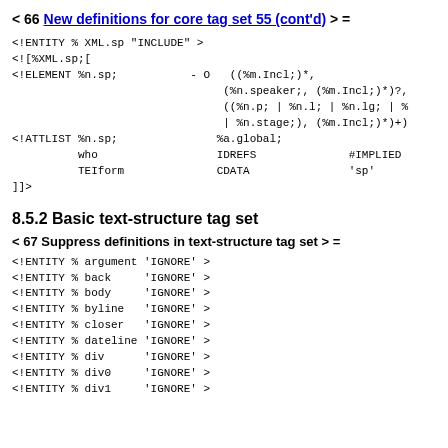< 66 New definitions for core tag set 55 (cont'd) > =
<!ENTITY % XML.sp "INCLUDE" >
<![%XML.sp;[
<!ELEMENT %n.sp;           - O   ((%m.Incl;)*,
                                (%n.speaker;, (%m.Incl;)*)?,
                                ((%n.p; | %n.l; | %n.lg; | %
                                | %n.stage;), (%m.Incl;)*)+)
<!ATTLIST %n.sp;               %a.global;
          who                  IDREFS              #IMPLIED
          TEIform              CDATA               'sp'
]]>
8.5.2 Basic text-structure tag set
< 67 Suppress definitions in text-structure tag set > =
<!ENTITY % argument 'IGNORE' >
<!ENTITY % back     'IGNORE' >
<!ENTITY % body     'IGNORE' >
<!ENTITY % byline   'IGNORE' >
<!ENTITY % closer   'IGNORE' >
<!ENTITY % dateline 'IGNORE' >
<!ENTITY % div      'IGNORE' >
<!ENTITY % div0     'IGNORE' >
<!ENTITY % div1     'IGNORE' >